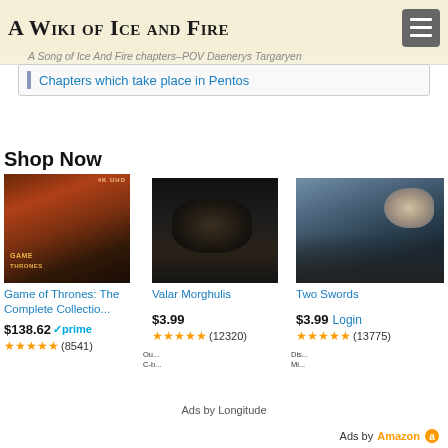A Wiki of Ice and Fire
A Song of Ice And Fire chapters–POV Daenerys Targaryen
Chapters which take place in Pentos
Shop Now
[Figure (photo): Game of Thrones: The Complete Collection 4K Blu-ray box set cover showing a dragon]
Game of Thrones: The Complete Collectio...
$138.62 ✓prime (8541)
[Figure (photo): Valar Morghulis - dark scene from Game of Thrones showing a figure in dim lighting]
Valar Morghulis
$3.99 (12320)
[Figure (photo): Two Swords - Daenerys riding a dragon in a mountainous landscape]
Two Swords
$3.99 Login (13775)
Ads by Longitude
Ads by Amazon